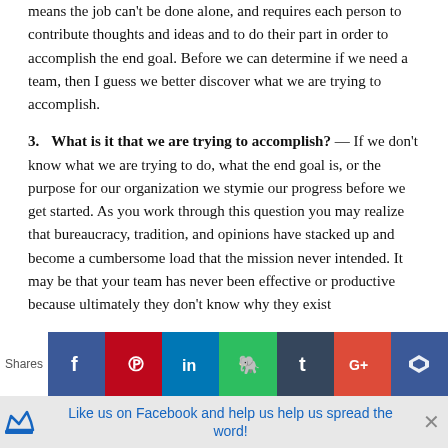means the job can't be done alone, and requires each person to contribute thoughts and ideas and to do their part in order to accomplish the end goal. Before we can determine if we need a team, then I guess we better discover what we are trying to accomplish.
3. What is it that we are trying to accomplish? — If we don't know what we are trying to do, what the end goal is, or the purpose for our organization we stymie our progress before we get started. As you work through this question you may realize that bureaucracy, tradition, and opinions have stacked up and become a cumbersome load that the mission never intended. It may be that your team has never been effective or productive because ultimately they don't know why they exist
[Figure (infographic): Social sharing bar with Shares label, Facebook, Pinterest, LinkedIn, Evernote, Tumblr, Google+, and crown icons]
Like us on Facebook and help us help us spread the word!